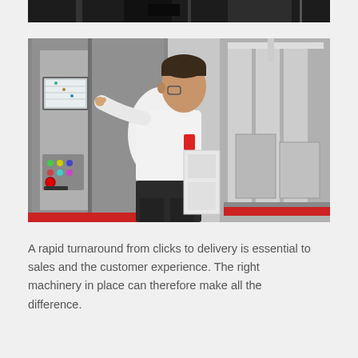[Figure (photo): Partial top view of industrial machinery, cropped at top of page showing metal equipment in black and white]
[Figure (photo): A worker in a white shirt and dark pants operating an industrial machine control panel with touchscreen display and colorful buttons, with automated machinery visible in the background]
A rapid turnaround from clicks to delivery is essential to sales and the customer experience. The right machinery in place can therefore make all the difference.